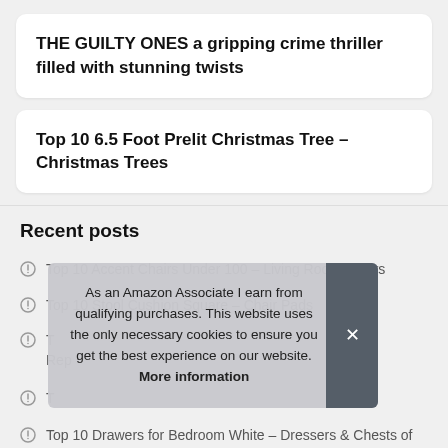THE GUILTY ONES a gripping crime thriller filled with stunning twists
Top 10 6.5 Foot Prelit Christmas Tree – Christmas Trees
Recent posts
Top 10 Accent Chairs Under 100 – Living Room Chairs
Top 10 Stool Cushion Square – Chair Pads
T… Rep…
T…
Top 10 Drawers for Bedroom White – Dressers & Chests of
As an Amazon Associate I earn from qualifying purchases. This website uses the only necessary cookies to ensure you get the best experience on our website. More information